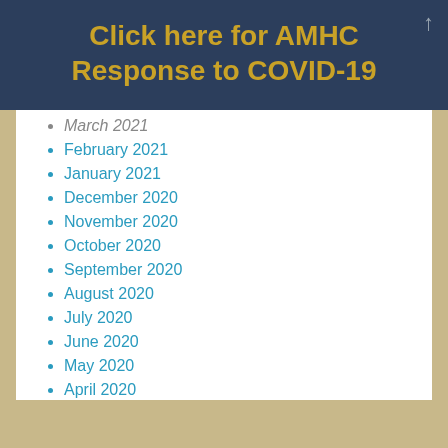Click here for AMHC Response to COVID-19
March 2021
February 2021
January 2021
December 2020
November 2020
October 2020
September 2020
August 2020
July 2020
June 2020
May 2020
April 2020
March 2020
February 2020
January 2020
December 2019
November 2019